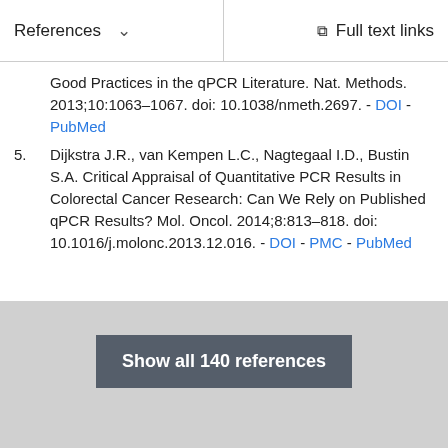References   ∨   Full text links
Good Practices in the qPCR Literature. Nat. Methods. 2013;10:1063–1067. doi: 10.1038/nmeth.2697. - DOI - PubMed
5. Dijkstra J.R., van Kempen L.C., Nagtegaal I.D., Bustin S.A. Critical Appraisal of Quantitative PCR Results in Colorectal Cancer Research: Can We Rely on Published qPCR Results? Mol. Oncol. 2014;8:813–818. doi: 10.1016/j.molonc.2013.12.016. - DOI - PMC - PubMed
Show all 140 references